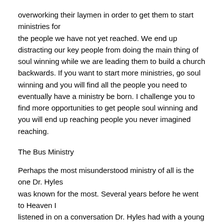overworking their laymen in order to get them to start ministries for the people we have not yet reached. We end up distracting our key people from doing the main thing of soul winning while we are leading them to build a church backwards. If you want to start more ministries, go soul winning and you will find all the people you need to eventually have a ministry be born. I challenge you to find more opportunities to get people soul winning and you will end up reaching people you never imagined reaching.
The Bus Ministry
Perhaps the most misunderstood ministry of all is the one Dr. Hyles was known for the most. Several years before he went to Heaven I listened in on a conversation Dr. Hyles had with a young pastor who had come to him for advice. His question was in regard to starting a bus ministry in the church he had recently begun to